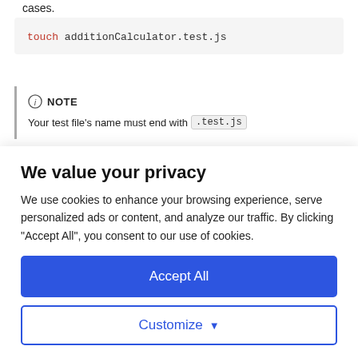cases.
touch additionCalculator.test.js
NOTE
Your test file's name must end with .test.js
We value your privacy
We use cookies to enhance your browsing experience, serve personalized ads or content, and analyze our traffic. By clicking "Accept All", you consent to our use of cookies.
Accept All
Customize